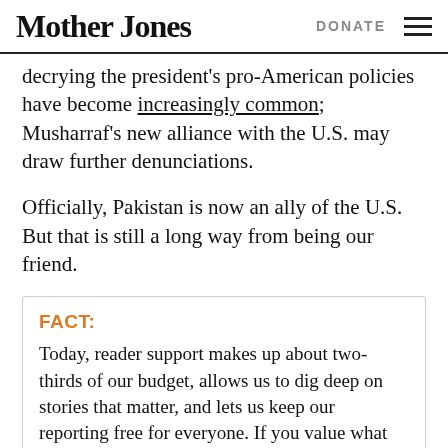Mother Jones | DONATE
decrying the president's pro-American policies have become increasingly common; Musharraf's new alliance with the U.S. may draw further denunciations.
Officially, Pakistan is now an ally of the U.S. But that is still a long way from being our friend.
FACT: Today, reader support makes up about two-thirds of our budget, allows us to dig deep on stories that matter, and lets us keep our reporting free for everyone. If you value what you get from Mother Jones, please join us with a tax-deductible donation today so we can keep